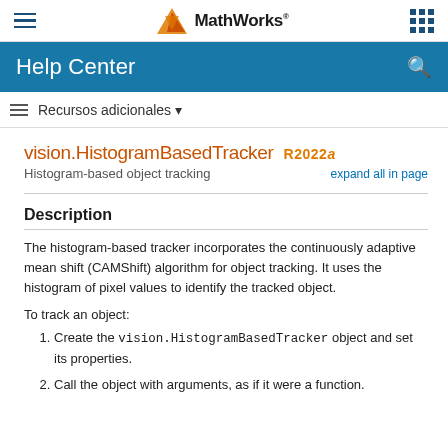MathWorks Help Center
vision.HistogramBasedTracker R2022a
Histogram-based object tracking
Description
The histogram-based tracker incorporates the continuously adaptive mean shift (CAMShift) algorithm for object tracking. It uses the histogram of pixel values to identify the tracked object.
To track an object:
Create the vision.HistogramBasedTracker object and set its properties.
Call the object with arguments, as if it were a function.